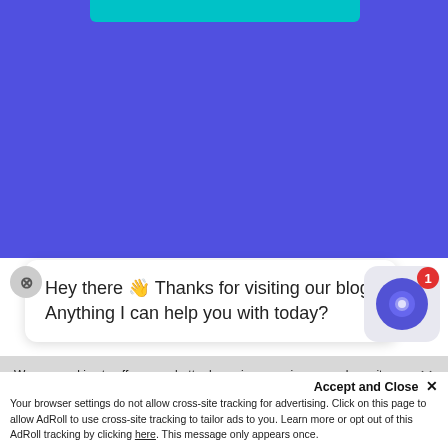[Figure (screenshot): Purple background website header with a teal button at top]
Hey there 👋 Thanks for visiting our blog! Anything I can help you with today?
We use cookies to offer you a better browsing experience, analyze site traffic, personalize content, and serve targeted advertisements. Click 'Accept Cookies' to consent to the placement and use of cookies or click on 'Cookie Settings' to see the types of cookies used and update your personal cookie preferences while on the site. We will handle your contact details in line with our Privacy Policy.
Accept and Close ✕
Your browser settings do not allow cross-site tracking for advertising. Click on this page to allow AdRoll to use cross-site tracking to tailor ads to you. Learn more or opt out of this AdRoll tracking by clicking here. This message only appears once.